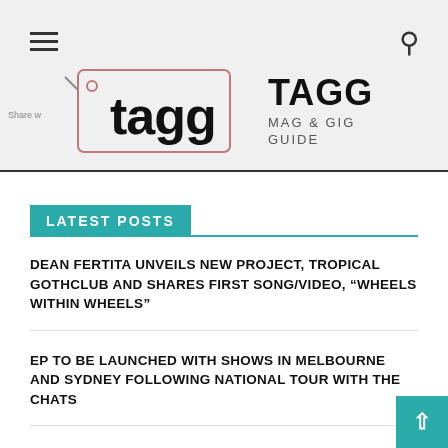[Figure (logo): TAGG Mag & Gig Guide logo with price tag graphic and bold text 'tagg']
LATEST POSTS
DEAN FERTITA UNVEILS NEW PROJECT, TROPICAL GOTHCLUB AND SHARES FIRST SONG/VIDEO, “WHEELS WITHIN WHEELS”
EP TO BE LAUNCHED WITH SHOWS IN MELBOURNE AND SYDNEY FOLLOWING NATIONAL TOUR WITH THE CHATS
WA'S SEAWITCH RELEASE NEW SINGLE “WITCHES